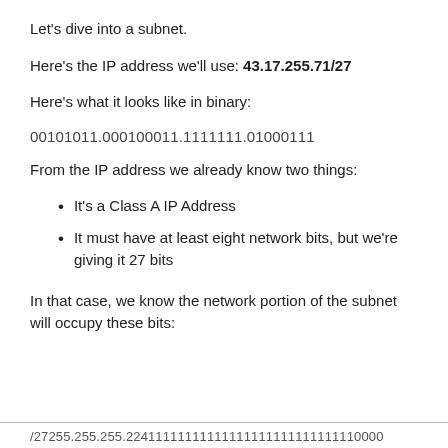Let's dive into a subnet.
Here's the IP address we'll use: 43.17.255.71/27
Here's what it looks like in binary:
00101011.000100011.1111111.01000111
From the IP address we already know two things:
It's a Class A IP Address
It must have at least eight network bits, but we're giving it 27 bits
In that case, we know the network portion of the subnet will occupy these bits:
/27255.255.255.22411111111111111111111111111110000